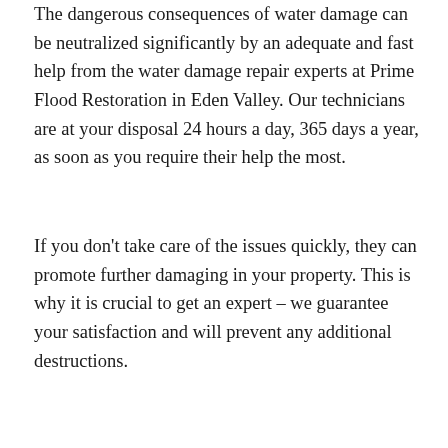The dangerous consequences of water damage can be neutralized significantly by an adequate and fast help from the water damage repair experts at Prime Flood Restoration in Eden Valley. Our technicians are at your disposal 24 hours a day, 365 days a year, as soon as you require their help the most.
If you don’t take care of the issues quickly, they can promote further damaging in your property. This is why it is crucial to get an expert – we guarantee your satisfaction and will prevent any additional destructions.